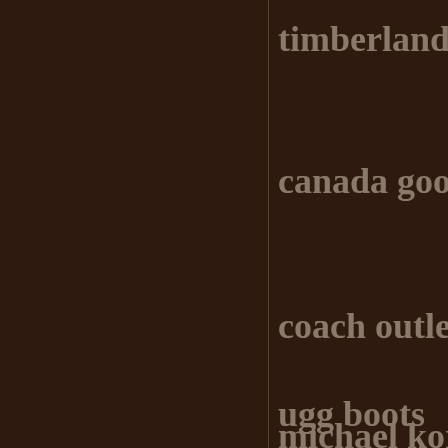timberland boo
canada goose j
coach outlet sto
michael kors o
ugg boots